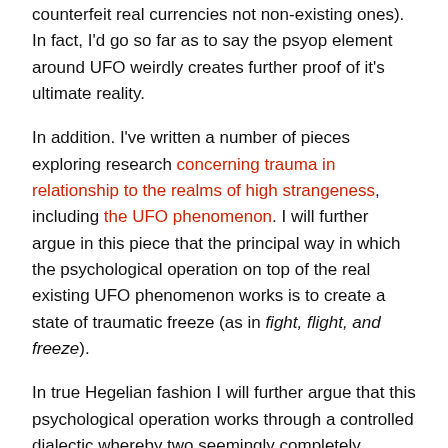counterfeit real currencies not non-existing ones). In fact, I'd go so far as to say the psyop element around UFO weirdly creates further proof of it's ultimate reality.
In addition. I've written a number of pieces exploring research concerning trauma in relationship to the realms of high strangeness, including the UFO phenomenon. I will further argue in this piece that the principal way in which the psychological operation on top of the real existing UFO phenomenon works is to create a state of traumatic freeze (as in fight, flight, and freeze).
In true Hegelian fashion I will further argue that this psychological operation works through a controlled dialectic whereby two seemingly completely opposed and self-contradictory narratives will both have been seeded by the deep state. One of those narratives or memes is that of the sinister